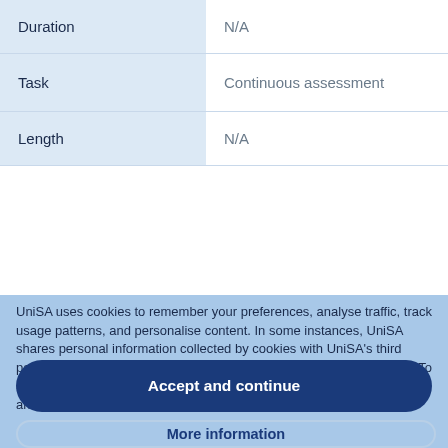| Duration | N/A |
| Task | Continuous assessment |
| Length | N/A |
UniSA uses cookies to remember your preferences, analyse traffic, track usage patterns, and personalise content. In some instances, UniSA shares personal information collected by cookies with UniSA's third party service providers. See our privacy notification for further details. To adjust your cookie settings, click 'More information'. By clicking 'Accept and continue', you consent to our use of cookies.
Accept and continue
More information